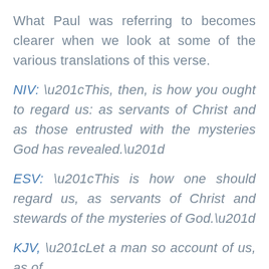What Paul was referring to becomes clearer when we look at some of the various translations of this verse.
NIV: “This, then, is how you ought to regard us: as servants of Christ and as those entrusted with the mysteries God has revealed.”
ESV: “This is how one should regard us, as servants of Christ and stewards of the mysteries of God.”
KJV, “Let a man so account of us, as of